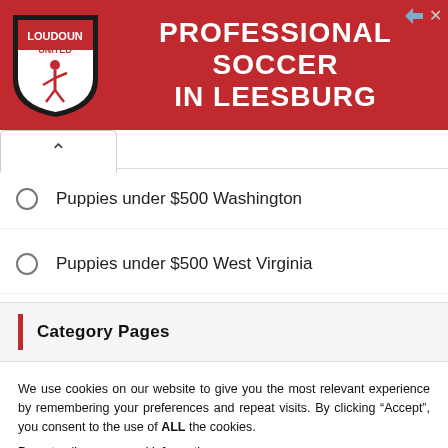[Figure (other): Advertisement banner for Loudoun United professional soccer in Leesburg. Red background with white shield logo and bold white text.]
Puppies under $500 Washington
Puppies under $500 West Virginia
Category Pages
We use cookies on our website to give you the most relevant experience by remembering your preferences and repeat visits. By clicking “Accept”, you consent to the use of ALL the cookies.
Do not sell my personal information.